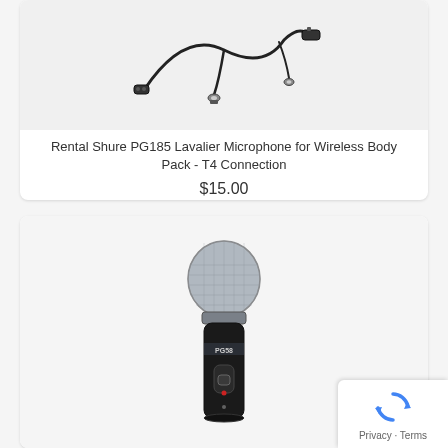[Figure (photo): Lavalier microphone with cable and connectors for wireless body pack]
Rental Shure PG185 Lavalier Microphone for Wireless Body Pack - T4 Connection
$15.00
[Figure (photo): Shure PG58 handheld dynamic microphone, black with silver grille]
Privacy · Terms